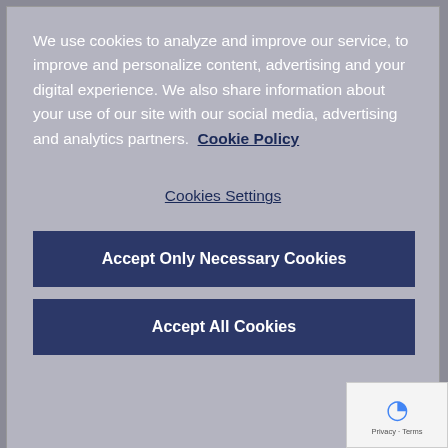We use cookies to analyze and improve our service, to improve and personalize content, advertising and your digital experience. We also share information about your use of our site with our social media, advertising and analytics partners.  Cookie Policy
Cookies Settings
Accept Only Necessary Cookies
Accept All Cookies
[Figure (screenshot): Partially visible pink/magenta 'Download now' button and gray background section beneath the cookie consent overlay]
However, Gosling also cautioned that, although sp... attractions have a role to play within mixed-use developments and shopping centres, they cannot be...
[Figure (other): reCAPTCHA widget badge with Google logo and 'Privacy - Terms' text]